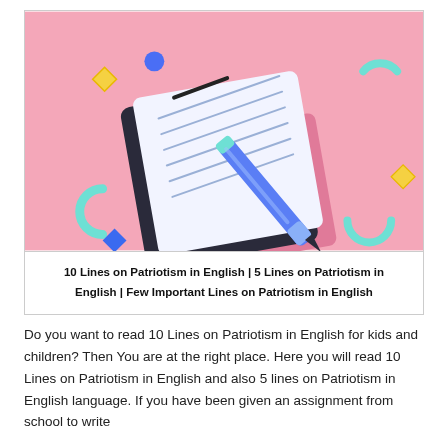[Figure (illustration): Colorful flat illustration on a pink background showing a notebook/notepad with lined pages and a blue pen/pencil resting on it, surrounded by decorative geometric shapes (circles, diamonds, arcs) in yellow, blue, and teal colors.]
10 Lines on Patriotism in English | 5 Lines on Patriotism in English | Few Important Lines on Patriotism in English
Do you want to read 10 Lines on Patriotism in English for kids and children? Then You are at the right place. Here you will read 10 Lines on Patriotism in English and also 5 lines on Patriotism in English language. If you have been given an assignment from school to write